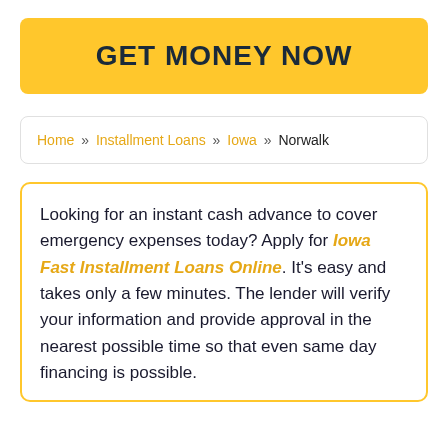GET MONEY NOW
Home » Installment Loans » Iowa » Norwalk
Looking for an instant cash advance to cover emergency expenses today? Apply for Iowa Fast Installment Loans Online. It's easy and takes only a few minutes. The lender will verify your information and provide approval in the nearest possible time so that even same day financing is possible.